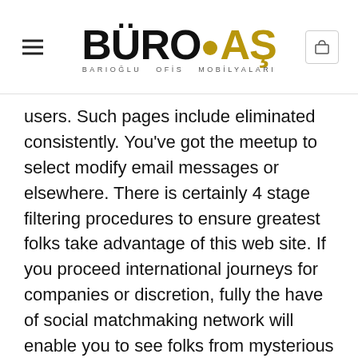BÜRO AŞ — BARIOĞLU OFİS MOBİLYALARI
users. Such pages include eliminated consistently. You've got the meetup to select modify email messages or elsewhere. There is certainly 4 stage filtering procedures to ensure greatest folks take advantage of this web site. If you proceed international journeys for companies or discretion, fully the have of social matchmaking network will enable you to see folks from mysterious nations. Well, simply put in the correct college or university, university details, but you will be discussing your very own a relationship activity with friends quickly.
Achievement for Relationships Feedback. Apps users include growing on a daily basis in several places of the planet Hookup: website made use of only reserved for expertise goal. To not ever feel copied. Might not be